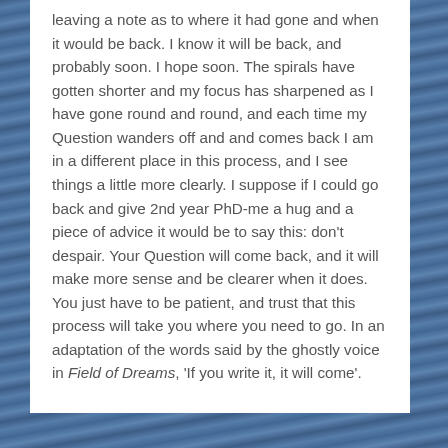leaving a note as to where it had gone and when it would be back. I know it will be back, and probably soon. I hope soon. The spirals have gotten shorter and my focus has sharpened as I have gone round and round, and each time my Question wanders off and and comes back I am in a different place in this process, and I see things a little more clearly. I suppose if I could go back and give 2nd year PhD-me a hug and a piece of advice it would be to say this: don't despair. Your Question will come back, and it will make more sense and be clearer when it does. You just have to be patient, and trust that this process will take you where you need to go. In an adaptation of the words said by the ghostly voice in Field of Dreams, 'If you write it, it will come'.